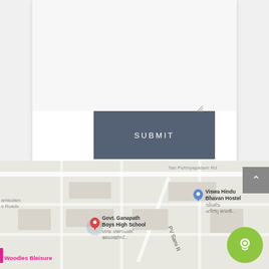[Figure (screenshot): Web form section showing a textarea with resize handle at bottom right and a dark blue-gray SUBMIT button aligned to the right]
[Figure (map): Google Maps screenshot showing streets in Kerala, India with location pins for Govt. Ganapath Boys High School, Viswa Hindu Bhavan Hostel, PV Sami Road, and labels in Malayalam and English. Also shows partial labels: amkulam s Roads, Tali Puthiyapatam Rd, I Woodies Bleisure. A green circular chat button is visible in the lower right corner.]